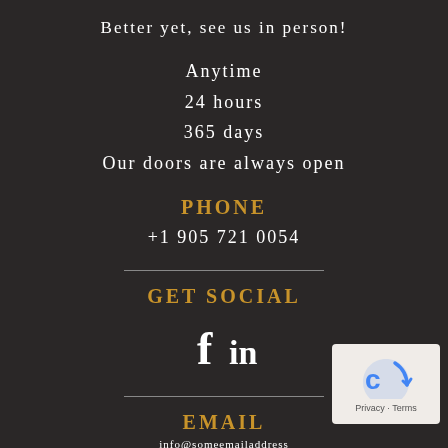Better yet, see us in person!
Anytime
24 hours
365 days
Our doors are always open
PHONE
+1 905 721 0054
GET SOCIAL
[Figure (other): Facebook and LinkedIn social media icons (f and in)]
EMAIL
(partial email address visible at bottom)